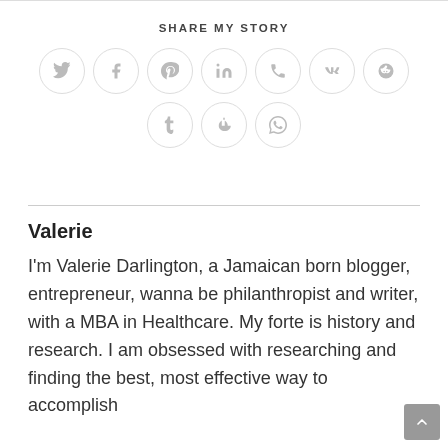SHARE MY STORY
[Figure (infographic): Social sharing icons in circles: Twitter, Facebook, Pinterest, LinkedIn, Phone/Viber, VK, Reddit (top row); Tumblr, Digg/Delicious, WhatsApp (bottom row)]
Valerie
I'm Valerie Darlington, a Jamaican born blogger, entrepreneur, wanna be philanthropist and writer, with a MBA in Healthcare. My forte is history and research. I am obsessed with researching and finding the best, most effective way to accomplish